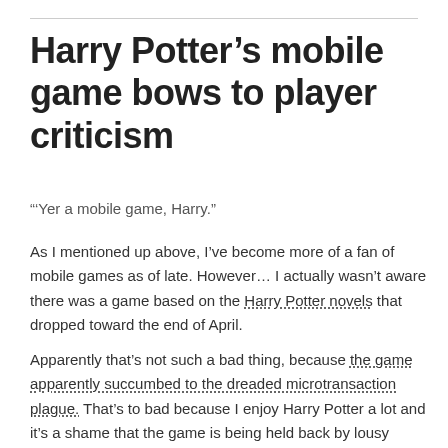Harry Potter’s mobile game bows to player criticism
“’Yer a mobile game, Harry.”
As I mentioned up above, I’ve become more of a fan of mobile games as of late. However… I actually wasn’t aware there was a game based on the Harry Potter novels that dropped toward the end of April.
Apparently that’s not such a bad thing, because the game apparently succumbed to the dreaded microtransaction plague. That’s to bad because I enjoy Harry Potter a lot and it’s a shame that the game is being held back by lousy money practices.